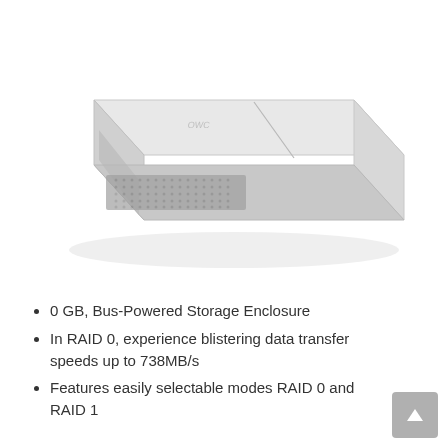[Figure (photo): A silver/white rectangular external hard drive enclosure with ventilation holes on the front face, photographed from a slight overhead angle on a white background.]
0 GB, Bus-Powered Storage Enclosure
In RAID 0, experience blistering data transfer speeds up to 738MB/s
Features easily selectable modes RAID 0 and RAID 1